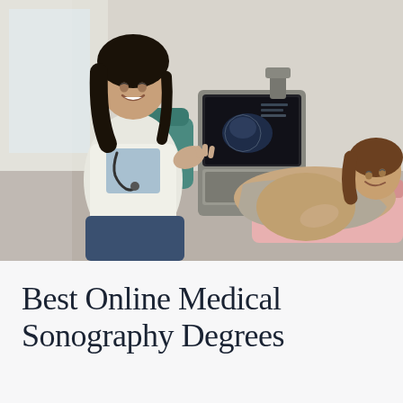[Figure (photo): A smiling female doctor/sonographer in a white coat with stethoscope performs an ultrasound on a smiling pregnant woman lying on an exam table. An ultrasound machine with a monitor displaying a scan image is visible in the background.]
Best Online Medical Sonography Degrees